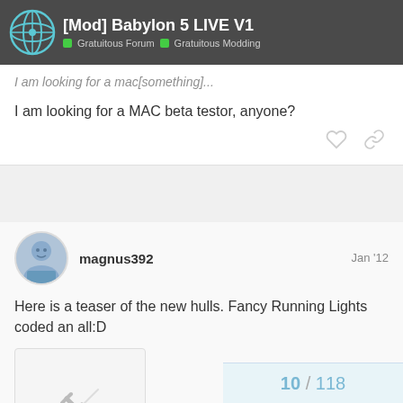[Mod] Babylon 5 LIVE V1 | Gratuitous Forum > Gratuitous Modding
I am looking for a MAC beta testor, anyone?
Here is a teaser of the new hulls. Fancy Running Lights coded an all:D
[Figure (other): Broken/missing image placeholder with broken link icon]
Uploaded with ImageShack.us
10 / 118